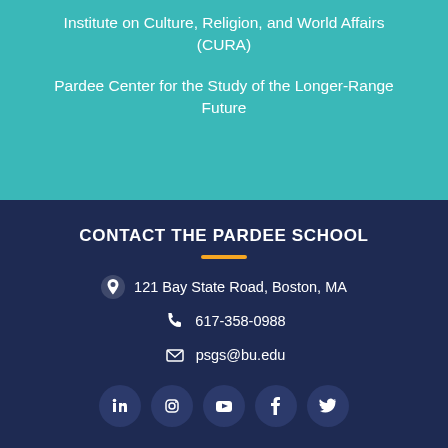Institute on Culture, Religion, and World Affairs (CURA)
Pardee Center for the Study of the Longer-Range Future
CONTACT THE PARDEE SCHOOL
121 Bay State Road, Boston, MA
617-358-0988
psgs@bu.edu
[Figure (other): Social media icons: LinkedIn, Instagram, YouTube, Facebook, Twitter]